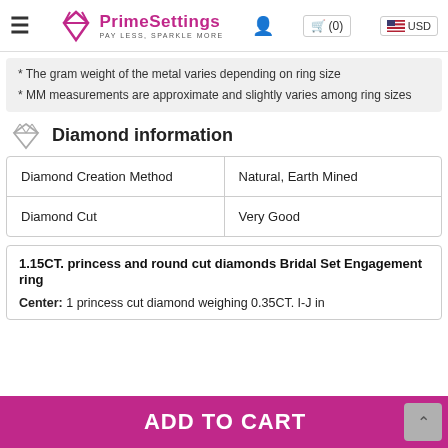PrimeSettings PAY LESS, SPARKLE MORE | (0) | USD
* The gram weight of the metal varies depending on ring size
* MM measurements are approximate and slightly varies among ring sizes
Diamond information
| Diamond Creation Method | Natural, Earth Mined |
| Diamond Cut | Very Good |
1.15CT. princess and round cut diamonds Bridal Set Engagement ring
Center: 1 princess cut diamond weighing 0.35CT. I-J in
ADD TO CART